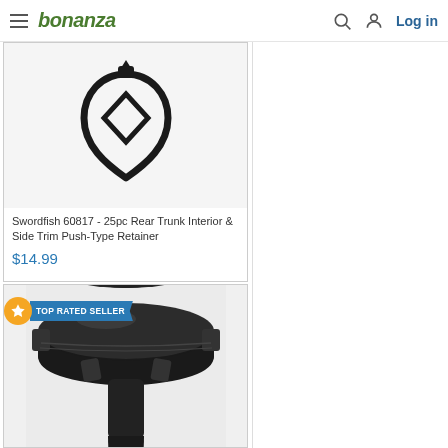bonanza — Log in
[Figure (photo): Black plastic push-type retainer clip, rear trunk interior side trim part, viewed from above showing triangular loop shape]
Swordfish 60817 - 25pc Rear Trunk Interior & Side Trim Push-Type Retainer
$14.99
[Figure (photo): Black plastic push-type retainer clip, large round head with flat top cap, viewed from above, TOP RATED SELLER badge overlay]
TOP RATED SELLER